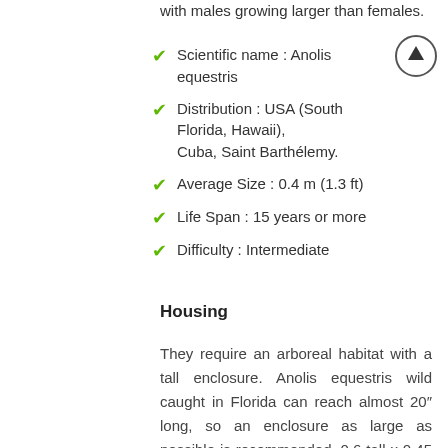with males growing larger than females.
Scientific name : Anolis equestris
Distribution : USA (South Florida, Hawaii), Cuba, Saint Barthélemy.
Average Size : 0.4 m (1.3 ft)
Life Span : 15 years or more
Difficulty : Intermediate
Housing
They require an arboreal habitat with a tall enclosure. Anolis equestris wild caught in Florida can reach almost 20″ long, so an enclosure as large as possible is recommended. 0.6 tall x 0.45 width x 0.45 length meters (2 x 1.5 x 1.5 feet) is